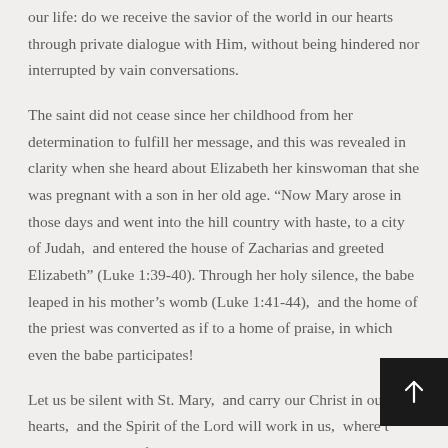our life: do we receive the savior of the world in our hearts through private dialogue with Him, without being hindered nor interrupted by vain conversations.
The saint did not cease since her childhood from her determination to fulfill her message, and this was revealed in clarity when she heard about Elizabeth her kinswoman that she was pregnant with a son in her old age. “Now Mary arose in those days and went into the hill country with haste, to a city of Judah,  and entered the house of Zacharias and greeted Elizabeth” (Luke 1:39-40). Through her holy silence, the babe leaped in his mother’s womb (Luke 1:41-44),  and the home of the priest was converted as if to a home of praise, in which even the babe participates!
Let us be silent with St. Mary,  and carry our Christ in our hearts,  and the Spirit of the Lord will work in us,  where the earth will become for us a jubilant heaven.  This is the